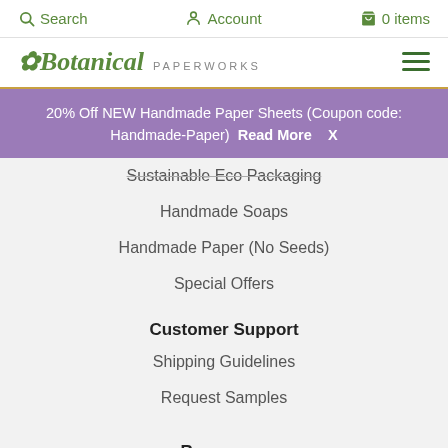Search   Account   0 items
[Figure (logo): Botanical Paperworks logo with leaf icon and hamburger menu]
20% Off NEW Handmade Paper Sheets (Coupon code: Handmade-Paper)  Read More  X
Sustainable Eco Packaging
Handmade Soaps
Handmade Paper (No Seeds)
Special Offers
Customer Support
Shipping Guidelines
Request Samples
Resources
Blog Articles
Memorial Quotes & Poems